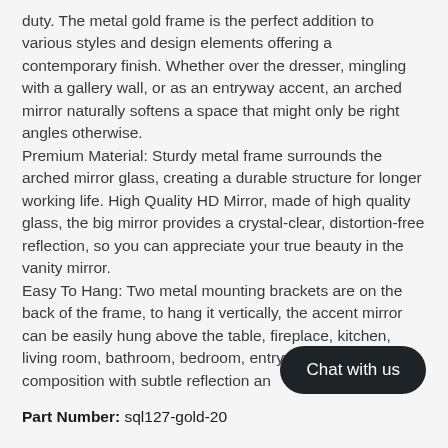duty. The metal gold frame is the perfect addition to various styles and design elements offering a contemporary finish. Whether over the dresser, mingling with a gallery wall, or as an entryway accent, an arched mirror naturally softens a space that might only be right angles otherwise.
Premium Material: Sturdy metal frame surrounds the arched mirror glass, creating a durable structure for longer working life. High Quality HD Mirror, made of high quality glass, the big mirror provides a crystal-clear, distortion-free reflection, so you can appreciate your true beauty in the vanity mirror.
Easy To Hang: Two metal mounting brackets are on the back of the frame, to hang it vertically, the accent mirror can be easily hung above the table, fireplace, kitchen, living room, bathroom, bedroom, entryway, creating a composition with subtle reflection and…
Part Number: sql127-gold-20